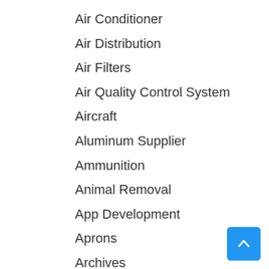Air Conditioner
Air Distribution
Air Filters
Air Quality Control System
Aircraft
Aluminum Supplier
Ammunition
Animal Removal
App Development
Aprons
Archives
Aromatherapy Supply Store
Art Galleries
Art School
Art Supply Store
Arts and Recreation
Asbestos Testing Service